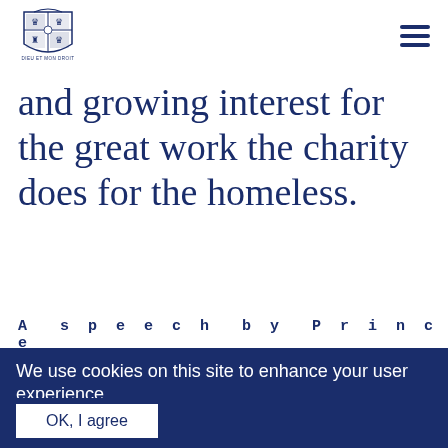Royal crest logo and navigation menu
and growing interest for the great work the charity does for the homeless.
A speech by Prince
We use cookies on this site to enhance your user experience
By clicking any link on this page you are giving your consent for us to set cookies. No, give me more info
OK, I agree